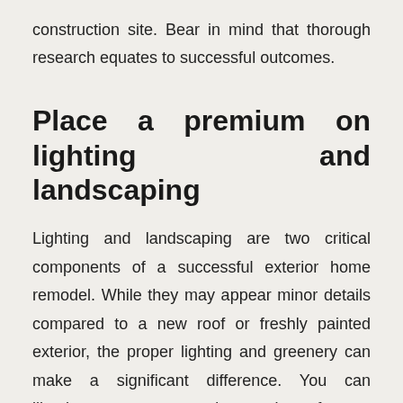construction site. Bear in mind that thorough research equates to successful outcomes.
Place a premium on lighting and landscaping
Lighting and landscaping are two critical components of a successful exterior home remodel. While they may appear minor details compared to a new roof or freshly painted exterior, the proper lighting and greenery can make a significant difference. You can illuminate your property in a variety of ways, including by lining pathways with lights, installing track